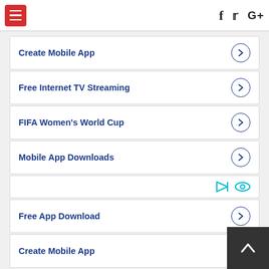hamburger menu | f twitter G+
Create Mobile App
Free Internet TV Streaming
FIFA Women's World Cup
Mobile App Downloads
Free App Download
Create Mobile App
Mobile App Downloads
FIFA Women's World Cup